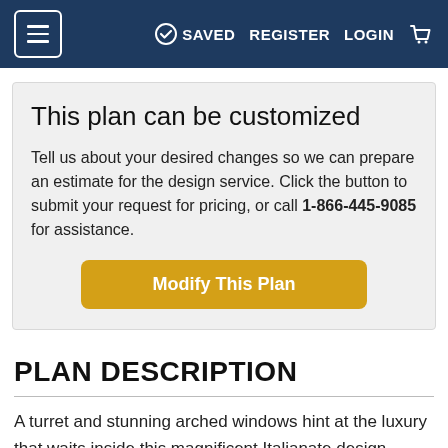≡  SAVED  REGISTER  LOGIN  🛒
This plan can be customized
Tell us about your desired changes so we can prepare an estimate for the design service. Click the button to submit your request for pricing, or call 1-866-445-9085 for assistance.
[Figure (other): Yellow 'Modify This Plan' button]
PLAN DESCRIPTION
A turret and stunning arched windows hint at the luxury that waits inside this magnificent Italianate design. Highlights include the super-spacious